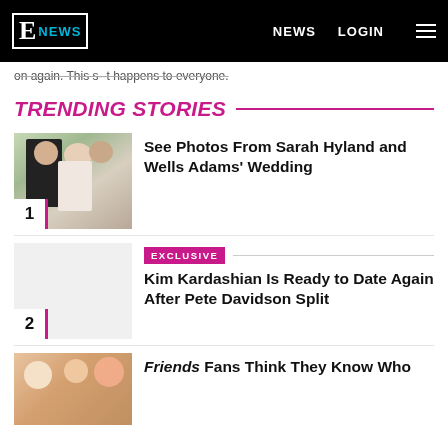E NEWS | NEWS | LOGIN
on again. This s--t happens to everyone.
TRENDING STORIES
[Figure (photo): Wedding photo of Sarah Hyland and Wells Adams waving at camera, numbered 1]
See Photos From Sarah Hyland and Wells Adams' Wedding
[Figure (photo): Blank light grey thumbnail, numbered 2, with EXCLUSIVE badge]
Kim Kardashian Is Ready to Date Again After Pete Davidson Split
[Figure (photo): Friends TV show thumbnail]
Friends Fans Think They Know Who